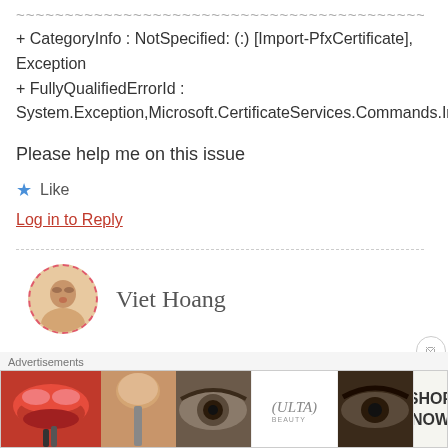~~~~~~~~~~~~~~~~~~~~~~~~~~~~~~~~~~~~~~~~~~~~~~~~~~~~~~~~~~~~~~~~~~~
+ CategoryInfo : NotSpecified: (:) [Import-PfxCertificate], Exception
+ FullyQualifiedErrorId :
System.Exception,Microsoft.CertificateServices.Commands.Im...
Please help me on this issue
★ Like
Log in to Reply
Viet Hoang
[Figure (other): Advertisement banner for Ulta Beauty showing makeup images with lips, brush, eye, Ulta logo, and SHOP NOW call to action]